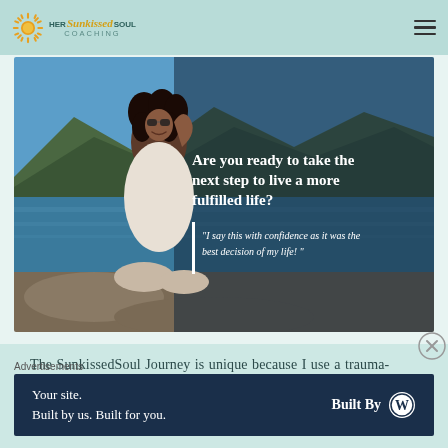[Figure (logo): Her Sunkissed Soul Coaching logo with sun icon]
[Figure (photo): Woman with sunglasses sitting on rocks by the sea, smiling, with text overlay: 'Are you ready to take the next step to live a more fulfilled life?' and quote 'I say this with confidence as it was the best decision of my life!']
The SunkissedSoul Journey is unique because I use a trauma-informed intuitive approach together with embodiment and mindful practices. I match my tools and knowledge with what is most relevant to you
Advertisements
[Figure (infographic): WordPress promotional banner: 'Your site. Built by us. Built for you.' with Built By WordPress logo]